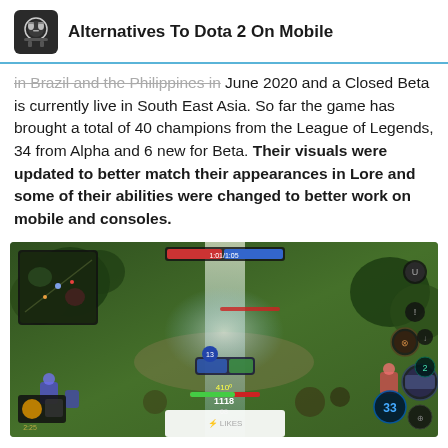Alternatives To Dota 2 On Mobile
in Brazil and the Philippines in June 2020 and a Closed Beta is currently live in South East Asia. So far the game has brought a total of 40 champions from the League of Legends, 34 from Alpha and 6 new for Beta. Their visuals were updated to better match their appearances in Lore and some of their abilities were changed to better work on mobile and consoles.
[Figure (screenshot): Screenshot of a mobile game (League of Legends Wild Rift) showing gameplay with a top-down view of the map, champion abilities, HUD elements including minimap, health bars, and skill buttons.]